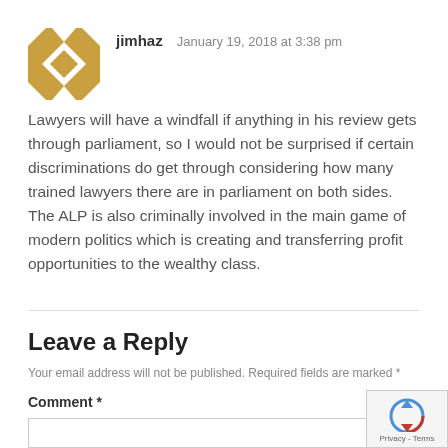jimhaz   January 19, 2018 at 3:38 pm
Lawyers will have a windfall if anything in his review gets through parliament, so I would not be surprised if certain discriminations do get through considering how many trained lawyers there are in parliament on both sides. The ALP is also criminally involved in the main game of modern politics which is creating and transferring profit opportunities to the wealthy class.
Leave a Reply
Your email address will not be published. Required fields are marked *
Comment *